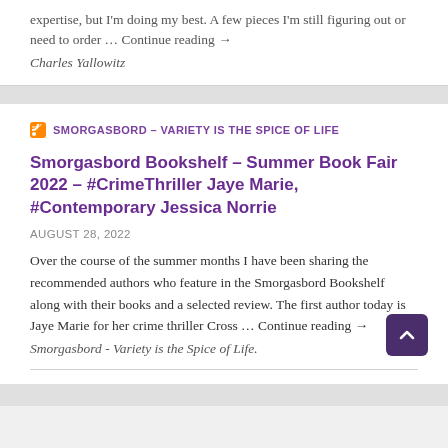expertise, but I'm doing my best. A few pieces I'm still figuring out or need to order … Continue reading →
Charles Yallowitz
SMORGASBORD – VARIETY IS THE SPICE OF LIFE
Smorgasbord Bookshelf – Summer Book Fair 2022 – #CrimeThriller Jaye Marie, #Contemporary Jessica Norrie
AUGUST 28, 2022
Over the course of the summer months I have been sharing the recommended authors who feature in the Smorgasbord Bookshelf along with their books and a selected review. The first author today is Jaye Marie for her crime thriller Cross … Continue reading →
Smorgasbord - Variety is the Spice of Life.